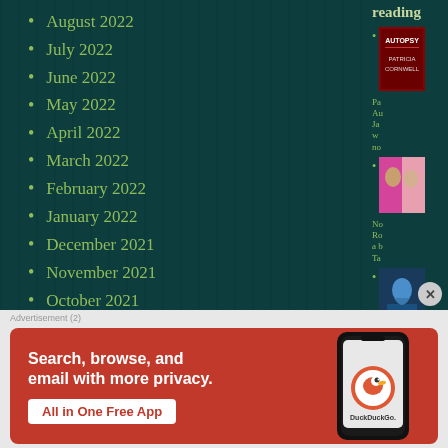August 2022
July 2022
June 2022
May 2022
April 2022
March 2022
February 2022
January 2022
December 2021
November 2021
October 2021
[Figure (screenshot): DuckDuckGo advertisement banner: Search, browse, and email with more privacy. All in One Free App.]